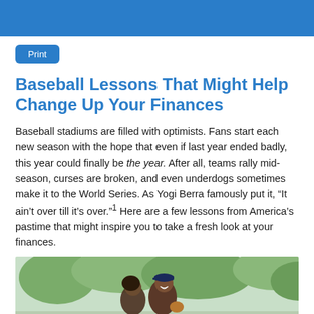Print
Baseball Lessons That Might Help Change Up Your Finances
Baseball stadiums are filled with optimists. Fans start each new season with the hope that even if last year ended badly, this year could finally be the year. After all, teams rally mid-season, curses are broken, and even underdogs sometimes make it to the World Series. As Yogi Berra famously put it, “It ain’t over till it’s over.”¹ Here are a few lessons from America’s pastime that might inspire you to take a fresh look at your finances.
[Figure (photo): A smiling couple outdoors, man wearing a baseball cap and holding a baseball glove, woman leaning against him, greenery in background.]